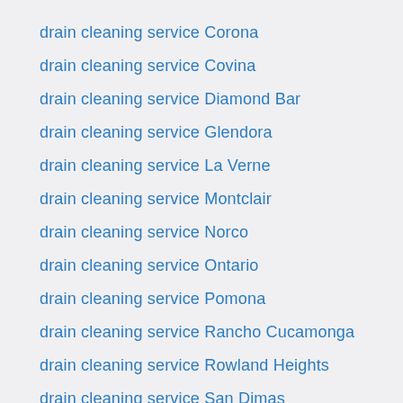drain cleaning service Corona
drain cleaning service Covina
drain cleaning service Diamond Bar
drain cleaning service Glendora
drain cleaning service La Verne
drain cleaning service Montclair
drain cleaning service Norco
drain cleaning service Ontario
drain cleaning service Pomona
drain cleaning service Rancho Cucamonga
drain cleaning service Rowland Heights
drain cleaning service San Dimas
drain cleaning service Upland
drain cleaning service Walnut
drain cleaning service West Covina